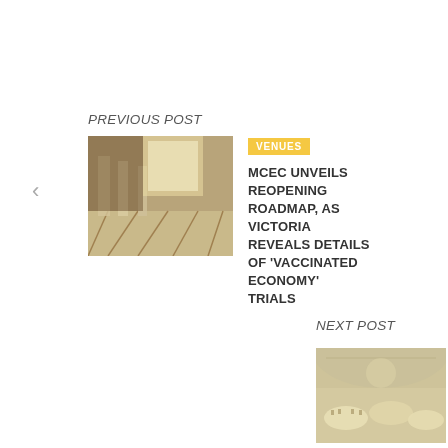PREVIOUS POST
[Figure (photo): Interior of a grand hall with tall columns and dramatic lighting]
VENUES
MCEC UNVEILS REOPENING ROADMAP, AS VICTORIA REVEALS DETAILS OF 'VACCINATED ECONOMY' TRIALS
NEXT POST
[Figure (photo): Elegant event venue with tables set for a formal dinner]
VENUES
THE GROUNDS UNVEILS NEW NEIGHBOURING VENUES